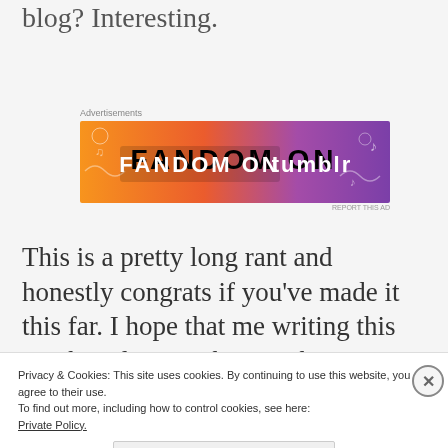...literally everything I am sharing on this blog? Interesting.
[Figure (screenshot): Fandom on Tumblr advertisement banner with colorful gradient background (orange to purple), featuring doodles and text 'FANDOM ON tumblr']
This is a pretty long rant and honestly congrats if you've made it this far. I hope that me writing this maybe relates with one other person out there. Staying consistent is tough af so please know that it happens to everyone
Privacy & Cookies: This site uses cookies. By continuing to use this website, you agree to their use.
To find out more, including how to control cookies, see here: Private Policy.
Got it.